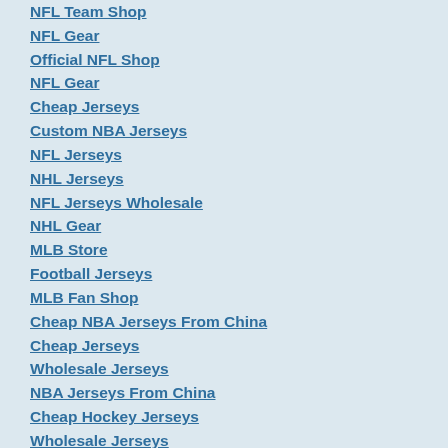NFL Team Shop
NFL Gear
Official NFL Shop
NFL Gear
Cheap Jerseys
Custom NBA Jerseys
NFL Jerseys
NHL Jerseys
NFL Jerseys Wholesale
NHL Gear
MLB Store
Football Jerseys
MLB Fan Shop
Cheap NBA Jerseys From China
Cheap Jerseys
Wholesale Jerseys
NBA Jerseys From China
Cheap Hockey Jerseys
Wholesale Jerseys
NFL Jerseys Cheap
MLB Shop
NFL Jersey Sales
NBA Shop
NFL Jerseys
MLB Baseball Jerseys